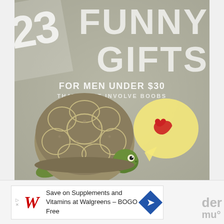[Figure (illustration): Infographic cover image with a light khaki/gray-green background. Large bold white text reads '23 FUNNY GIFTS FOR MEN UNDER $30 THAT DON'T INVOLVE BOOBS'. An illustrated retro-style tortoise/turtle with a textured brown shell and green head and feet is on the lower left. A yellow speech bubble with a red heart is on the right. The number 23 appears large and rotated in the upper left.]
[Figure (screenshot): Advertisement bar at the bottom: Walgreens ad with logo 'W' in red, text 'Save on Supplements and Vitamins at Walgreens - BOGO Free', and a blue diamond navigation icon.]